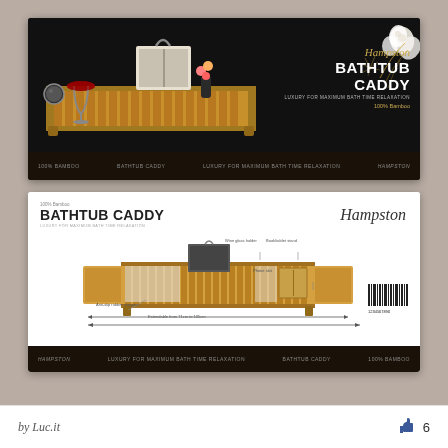[Figure (photo): Product packaging image - top view of Hampston Bathtub Caddy box with dark/black background showing bamboo tray with wine glass, book/tablet holder, flowers, and decorative floral design in gold on right side. Text reads 'Hampston BATHTUB CADDY LUXURY FOR MAXIMUM BATH TIME RELAXATION 100% Bamboo']
[Figure (photo): Product packaging image - bottom/back view of Hampston Bathtub Caddy box with white background showing diagram of bamboo tray caddy with annotations: 'Wine glass holder', 'Book/tablet stand', 'Phone slot', 'Anti-slip rubber stoppers', 'Extendable from 71cm to 105cm'. Brand name 'Hampston' in script font. Text reads '100% Bamboo BATHTUB CADDY LUXURY FOR MAXIMUM BATH TIME RELAXATION']
by Luc.it
6